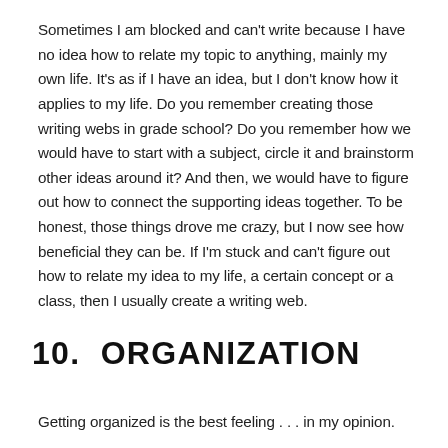Sometimes I am blocked and can't write because I have no idea how to relate my topic to anything, mainly my own life. It's as if I have an idea, but I don't know how it applies to my life. Do you remember creating those writing webs in grade school? Do you remember how we would have to start with a subject, circle it and brainstorm other ideas around it? And then, we would have to figure out how to connect the supporting ideas together. To be honest, those things drove me crazy, but I now see how beneficial they can be. If I'm stuck and can't figure out how to relate my idea to my life, a certain concept or a class, then I usually create a writing web.
10.  ORGANIZATION
Getting organized is the best feeling . . . in my opinion.